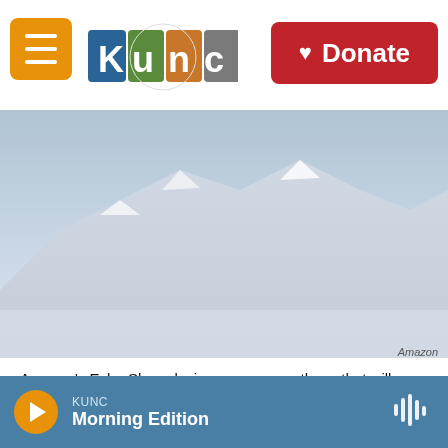KUNC — Donate
[Figure (photo): Background photo of mountain landscape with gray-blue sky, partially visible behind the header bar. Amazon Echo Show device image area.]
Amazon
Amazon's Echo Show devices are among those that will automatically be added to its shared wireless network scheme, called Amazon Sidewalk.
KUNC — Morning Edition